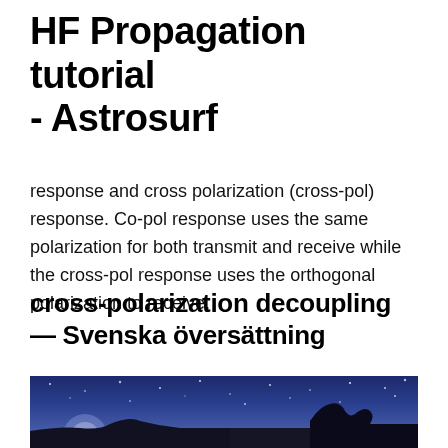HF Propagation tutorial - Astrosurf
response and cross polarization (cross-pol) response. Co-pol response uses the same polarization for both transmit and receive while the cross-pol response uses the orthogonal polarization to receive.
cross-polarization decoupling — Svenska översättning
[Figure (photo): Night sky photograph showing stars with silhouetted figure and landscape at the bottom]